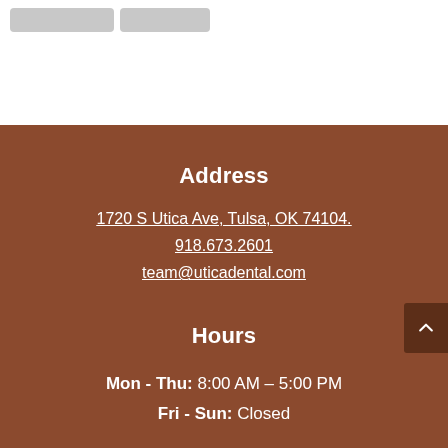[Figure (other): Two gray placeholder buttons at the top of the page on white background]
Address
1720 S Utica Ave, Tulsa, OK 74104.
918.673.2601
team@uticadental.com
Hours
Mon - Thu: 8:00 AM – 5:00 PM
Fri - Sun: Closed